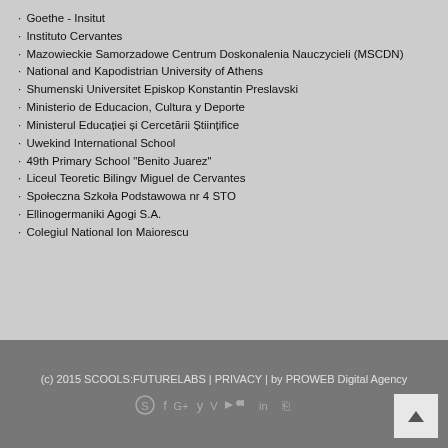Goethe - Insitut
Instituto Cervantes
Mazowieckie Samorzadowe Centrum Doskonalenia Nauczycieli (MSCDN)
National and Kapodistrian University of Athens
Shumenski Universitet Episkop Konstantin Preslavski
Ministerio de Educacion, Cultura y Deporte
Ministerul Educației și Cercetării Științifice
Uwekind International School
49th Primary School "Benito Juarez"
Liceul Teoretic Bilingv Miguel de Cervantes
Społeczna Szkoła Podstawowa nr 4 STO
Ellinogermaniki Agogi S.A.
Colegiul National Ion Maiorescu
(c) 2015 SCOOLS:FUTURELABS | PRIVACY | by PROWEB Digital Agency